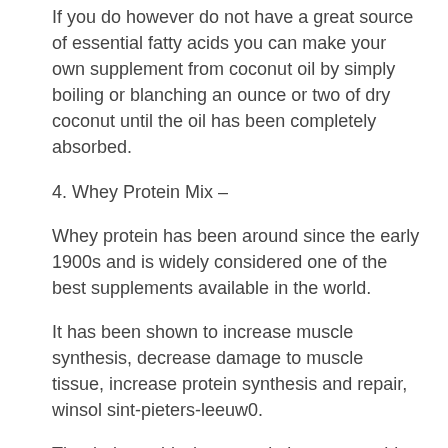If you do however do not have a great source of essential fatty acids you can make your own supplement from coconut oil by simply boiling or blanching an ounce or two of dry coconut until the oil has been completely absorbed.
4. Whey Protein Mix –
Whey protein has been around since the early 1900s and is widely considered one of the best supplements available in the world.
It has been shown to increase muscle synthesis, decrease damage to muscle tissue, increase protein synthesis and repair, winsol sint-pieters-leeuw0.
That being said whey protein is not something you would want to eat regularly as it only has a short shelf life of only months and a maximum recommended consumption